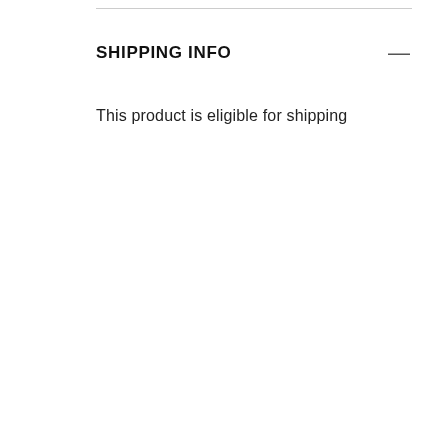SHIPPING INFO
This product is eligible for shipping